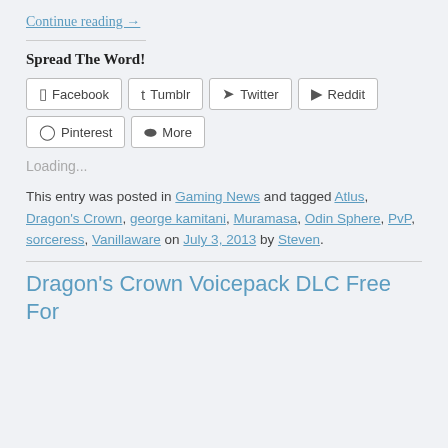Continue reading →
Spread The Word!
[Figure (other): Social share buttons: Facebook, Tumblr, Twitter, Reddit, Pinterest, More]
Loading...
This entry was posted in Gaming News and tagged Atlus, Dragon's Crown, george kamitani, Muramasa, Odin Sphere, PvP, sorceress, Vanillaware on July 3, 2013 by Steven.
Dragon's Crown Voicepack DLC Free For